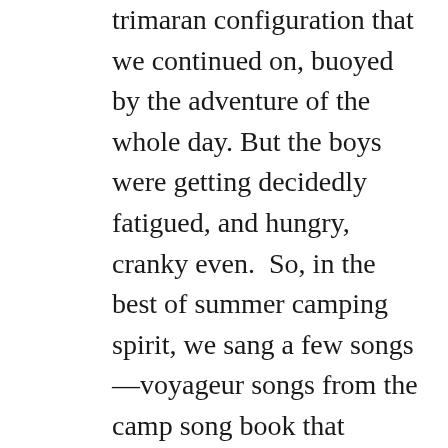trimaran configuration that we continued on, buoyed by the adventure of the whole day. But the boys were getting decidedly fatigued, and hungry, cranky even.  So, in the best of summer camping spirit, we sang a few songs—voyageur songs from the camp song book that everyone knew by heart. Paddling through the darkness, singing in rhythm, eighteen paddlers in three canoes, lashed together on the water, someone yelled, 'Shhhhhhhh. Somebody is calling.' For a second, it occurred to me that the calling could not possibly be directed our way because here we were, in the dark, well behind schedule, approaching a place that none of us had been before in a dugout canoe from Queen Charlotte Islands (now and forever 'Haida Gwaii'). But we dipped along in silence